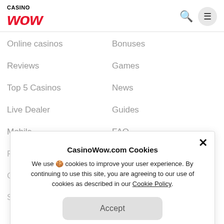CASINO WOW
Online casinos
Bonuses
Reviews
Games
Top 5 Casinos
News
Live Dealer
Guides
Mobile
FAQ
Responsible Gaming
About Us
Contact Us
CasinoWow.com Cookies
We use 🍪 cookies to improve your user experience. By continuing to use this site, you are agreeing to our use of cookies as described in our Cookie Policy.
Accept